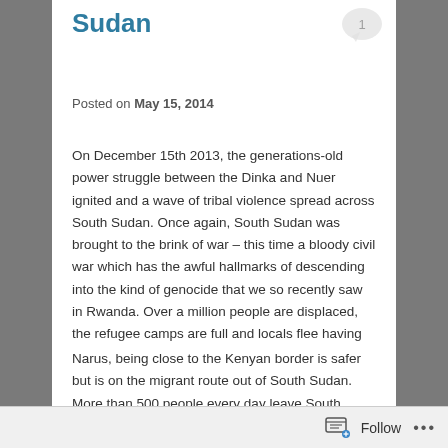Sudan
Posted on May 15, 2014
On December 15th 2013, the generations-old power struggle between the Dinka and Nuer ignited and a wave of tribal violence spread across South Sudan. Once again, South Sudan was brought to the brink of war – this time a bloody civil war which has the awful hallmarks of descending into the kind of genocide that we so recently saw in Rwanda. Over a million people are displaced, the refugee camps are full and locals flee having seen villages burned and their tribes-people murdered.
Narus, being close to the Kenyan border is safer but is on the migrant route out of South Sudan. More than 500 people every day leave South Sudan through Narus.
The trouble broke out while the children were on their
Follow ...